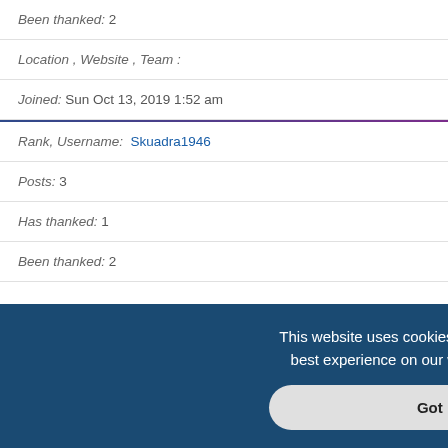Been thanked: 2
Location , Website , Team :
Joined: Sun Oct 13, 2019 1:52 am
Rank, Username: Skuadra1946
Posts: 3
Has thanked: 1
Been thanked: 2
This website uses cookies to ensure you get the best experience on our website. Learn more
Got it!